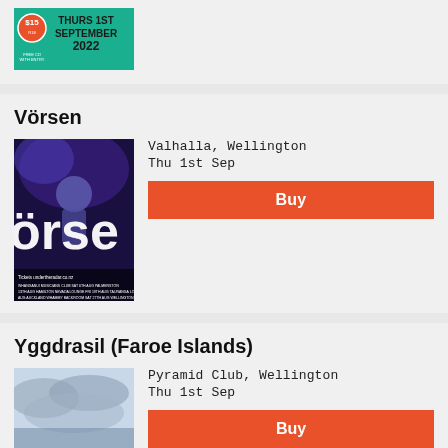[Figure (photo): Promotional flyer showing 'Thurs 1st September 2022' with '$15 Free CD with entry' badge on teal/green background]
Vörsen
[Figure (photo): Concert photo of Vörsen band member performing on stage with blue lighting, 'örse' text overlay, and tour dates at bottom. Tickets at undertheradar.co.nz]
Valhalla, Wellington
Thu 1st Sep
Buy
Yggdrasil (Faroe Islands)
[Figure (photo): Landscape photo of cloudy sky over water/land for Yggdrasil Faroe Islands event]
Pyramid Club, Wellington
Thu 1st Sep
Buy